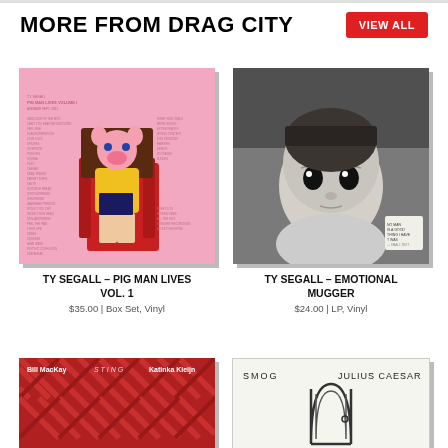MORE FROM DRAG CITY
VIEW ALL
[Figure (photo): Album cover for Ty Segall - Pig Man Lives Vol. 1, pink background with illustrated pig-man character seated in chair]
TY SEGALL - PIG MAN LIVES VOL. 1
$35.00 | Box Set, Vinyl
[Figure (photo): Album cover for Ty Segall - Emotional Mugger, black and white photo of a baby doll face]
TY SEGALL - EMOTIONAL MUGGER
$24.00 | LP, Vinyl
[Figure (photo): Album cover for Bill MacKay with Katinka Kleijn, red textured pattern]
[Figure (photo): Album cover for Smog - Julius Caesar, minimal line drawing on white background]